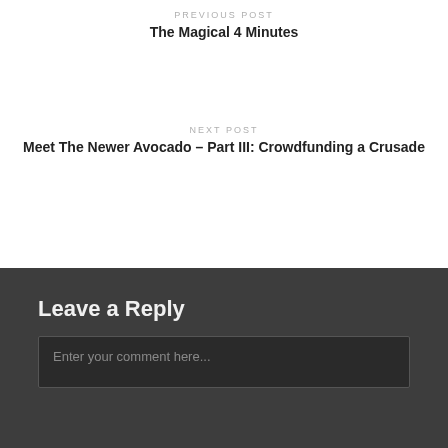PREVIOUS POST
The Magical 4 Minutes
NEXT POST
Meet The Newer Avocado – Part III: Crowdfunding a Crusade
Leave a Reply
Enter your comment here...